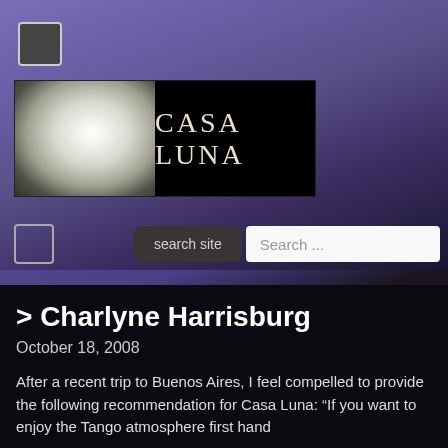[Figure (logo): Casa Luna website banner with a white gardenia flower on the left and 'CASA LUNA' text in decorative font on a black background]
[Figure (screenshot): Search interface with a checkbox, a dark 'search site' button, and a white search input field with placeholder text 'Search ...']
> Charlyne Harrisburg
October 18, 2008
After a recent trip to Buenos Aires, I feel compelled to provide the following recommendation for Casa Luna: “If you want to enjoy the Tango atmosphere first hand